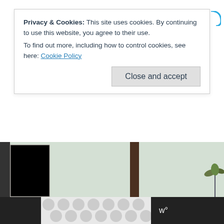Privacy & Cookies: This site uses cookies. By continuing to use this website, you agree to their use.
To find out more, including how to control cookies, see here: Cookie Policy
Close and accept
Internet-verse. Watch it, analyze it, love it, hate it. Let's hear talk of spoilers, good and bad adaptation decisions on the part of Peter Jackson & Co. And whatever else you want to discuss.
⊙ Continue Reading
[Figure (screenshot): Floating like/heart button widget in teal/blue color]
[Figure (screenshot): Floating share button (white circle with share icon)]
[Figure (photo): Partial photo showing room interior with cabinet/dresser and plant]
[Figure (screenshot): Dark ad bar at bottom with white patterned ad panel and 'w' icon]